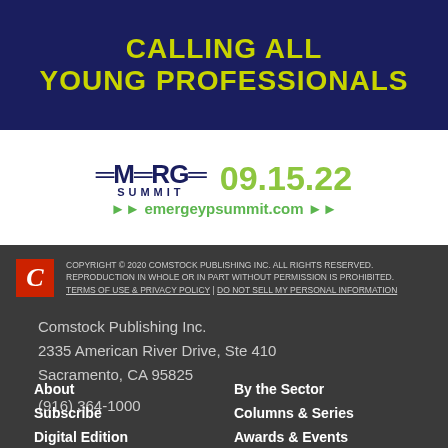[Figure (infographic): Dark navy banner with yellow-green bold text reading CALLING ALL YOUNG PROFESSIONALS]
[Figure (logo): EMERGE SUMMIT logo with arrows, date 09.15.22 in green, and URL emergeypsummit.com]
COPYRIGHT © 2020 COMSTOCK PUBLISHING INC. ALL RIGHTS RESERVED. REPRODUCTION IN WHOLE OR IN PART WITHOUT PERMISSION IS PROHIBITED. TERMS OF USE & PRIVACY POLICY | DO NOT SELL MY PERSONAL INFORMATION
Comstock Publishing Inc.
2335 American River Drive, Ste 410
Sacramento, CA 95825
(916) 364-1000
About
Subscribe
Digital Edition
By the Sector
Columns & Series
Awards & Events